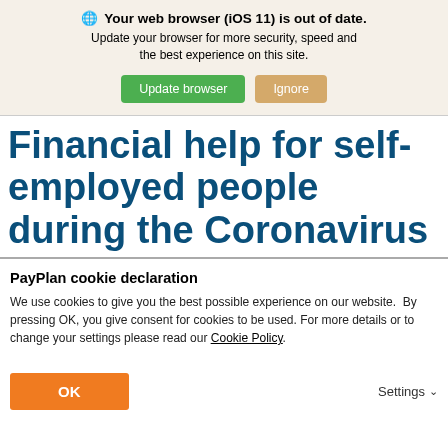🌐 Your web browser (iOS 11) is out of date. Update your browser for more security, speed and the best experience on this site.
Update browser | Ignore
Financial help for self-employed people during the Coronavirus
PayPlan cookie declaration
We use cookies to give you the best possible experience on our website. By pressing OK, you give consent for cookies to be used. For more details or to change your settings please read our Cookie Policy.
OK | Settings